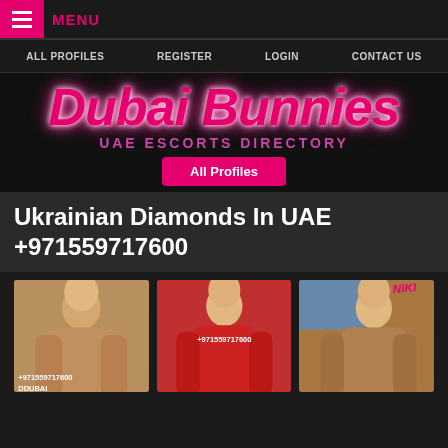MENU
ALL PROFILES   REGISTER   LOGIN   CONTACT US
[Figure (logo): Dubai Bunnies UAE Escorts Directory logo with pink neon text on dark background, with All Profiles button]
Ukrainian Diamonds In UAE +971559717600
[Figure (photo): Three escort profile photos side by side, first with +971559717600 and DDUBAI watermark, second with +971559717600 watermark, third with NIKI text overlay]